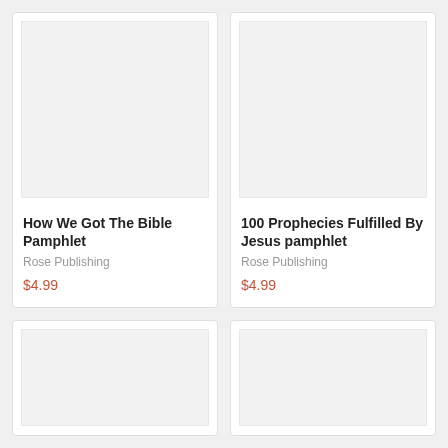[Figure (other): Product card image placeholder for How We Got The Bible Pamphlet – light gray rectangle]
How We Got The Bible Pamphlet
Rose Publishing
$4.99
[Figure (other): Product card image placeholder for 100 Prophecies Fulfilled By Jesus pamphlet – light gray rectangle]
100 Prophecies Fulfilled By Jesus pamphlet
Rose Publishing
$4.99
[Figure (other): Product card image placeholder – bottom left card, partially visible, light gray rectangle]
[Figure (other): Product card image placeholder – bottom right card, partially visible, light gray rectangle]